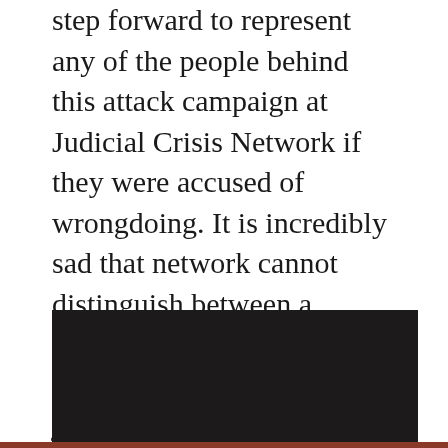step forward to represent any of the people behind this attack campaign at Judicial Crisis Network if they were accused of wrongdoing. It is incredibly sad that network cannot distinguish between a lawyer fulfilling her vital function in the criminal justice system and the criminal himself.
[Figure (other): Dark/black video thumbnail or embedded video block]